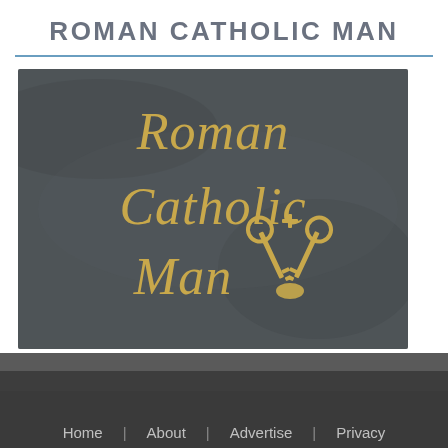ROMAN CATHOLIC MAN
[Figure (logo): Roman Catholic Man logo on dark leather-textured background with gold serif text reading 'Roman Catholic Man' and papal crossed keys symbol]
Home | About | Advertise | Privacy